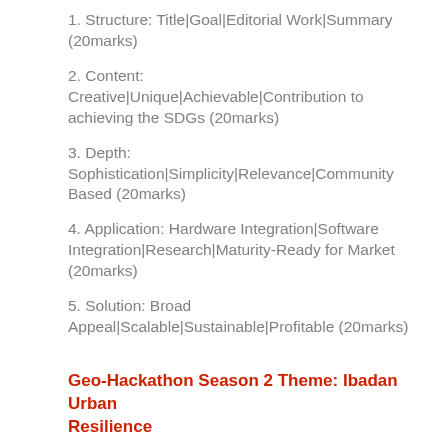1. Structure: Title|Goal|Editorial Work|Summary (20marks)
2. Content: Creative|Unique|Achievable|Contribution to achieving the SDGs (20marks)
3. Depth: Sophistication|Simplicity|Relevance|Community Based (20marks)
4. Application: Hardware Integration|Software Integration|Research|Maturity-Ready for Market (20marks)
5. Solution: Broad Appeal|Scalable|Sustainable|Profitable (20marks)
Geo-Hackathon Season 2 Theme: Ibadan Urban Resilience